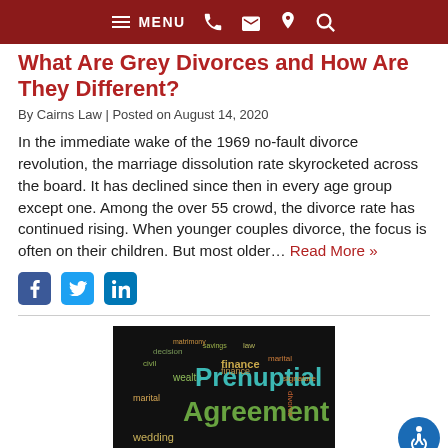MENU [phone] [email] [location] [search]
What Are Grey Divorces and How Are They Different?
By Cairns Law | Posted on August 14, 2020
In the immediate wake of the 1969 no-fault divorce revolution, the marriage dissolution rate skyrocketed across the board. It has declined since then in every age group except one. Among the over 55 crowd, the divorce rate has continued rising. When younger couples divorce, the focus is often on their children. But most older... Read More »
[Figure (other): Word cloud image with legal/financial terms including Prenuptial Agreement, finance, wealth, wedding, marital, on a dark background]
[Figure (other): Accessibility button icon (wheelchair symbol) blue circle, bottom right]